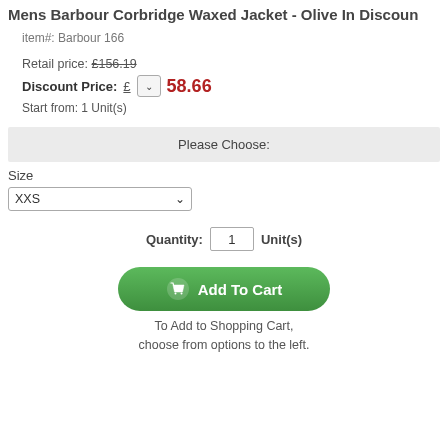Mens Barbour Corbridge Waxed Jacket - Olive In Discount
item#: Barbour 166
Retail price: £156.19
Discount Price: £ 58.66
Start from: 1 Unit(s)
Please Choose:
Size
XXS
Quantity: 1 Unit(s)
[Figure (other): Green Add To Cart button with shopping cart icon]
To Add to Shopping Cart, choose from options to the left.